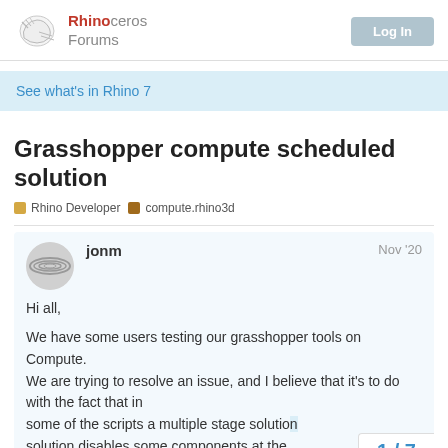Rhinoceros Forums
See what's in Rhino 7
Grasshopper compute scheduled solution
Rhino Developer   compute.rhino3d
jonm   Nov '20
Hi all,

We have some users testing our grasshopper tools on Compute.
We are trying to resolve an issue, and I believe that it's to do with the fact that in
some of the scripts a multiple stage solution disables some components at the
1 / 7